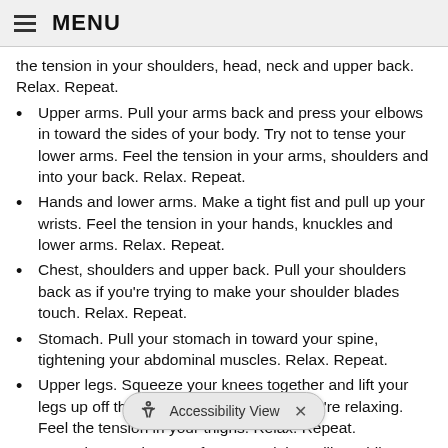MENU
the tension in your shoulders, head, neck and upper back. Relax. Repeat.
Upper arms. Pull your arms back and press your elbows in toward the sides of your body. Try not to tense your lower arms. Feel the tension in your arms, shoulders and into your back. Relax. Repeat.
Hands and lower arms. Make a tight fist and pull up your wrists. Feel the tension in your hands, knuckles and lower arms. Relax. Repeat.
Chest, shoulders and upper back. Pull your shoulders back as if you're trying to make your shoulder blades touch. Relax. Repeat.
Stomach. Pull your stomach in toward your spine, tightening your abdominal muscles. Relax. Repeat.
Upper legs. Squeeze your knees together and lift your legs up off the chair or from wherever you're relaxing. Feel the tension in your thighs. Relax. Repeat.
Lower legs. Raise your feet toward the ceiling while flexing them toward your body. Feel the tension in your calves. Relax. Repeat.
Feet. Turn your feet inward and curl your toes up and out. Relax. Repeat.